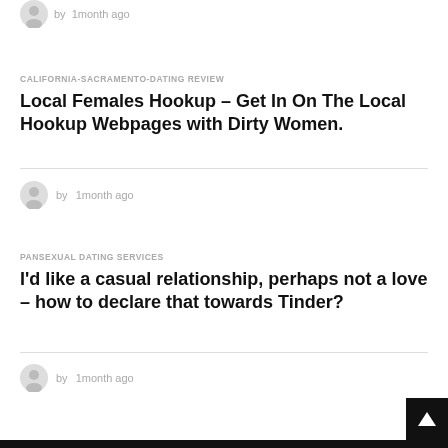by  1month ago
CALIFORNIA-SACRAMENTO-DATING REVIEW
Local Females Hookup – Get In On The Local Hookup Webpages with Dirty Women.
by  1month ago
PANSEXUAL DATING SERVICES
I'd like a casual relationship, perhaps not a love – how to declare that towards Tinder?
by  1month ago